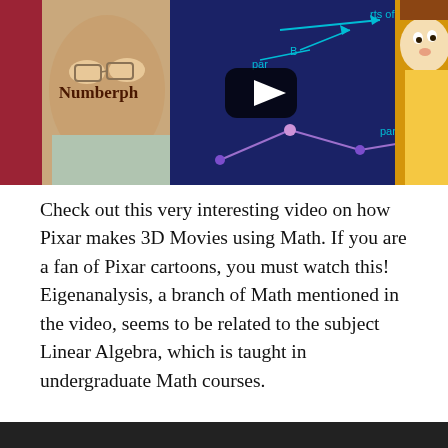[Figure (screenshot): YouTube video thumbnail for Numberphile video about Pixar and 3D movies using Math. Shows an elderly man with glasses on the left side, a dark blue math/diagram background in the center with a YouTube play button, text 'parts of B' visible, and a Woody (Toy Story) character on the right side. A vertical red bar on the far left reads 'Numberphile' in brown text.]
Check out this very interesting video on how Pixar makes 3D Movies using Math. If you are a fan of Pixar cartoons, you must watch this! Eigenanalysis, a branch of Math mentioned in the video, seems to be related to the subject Linear Algebra, which is taught in undergraduate Math courses.